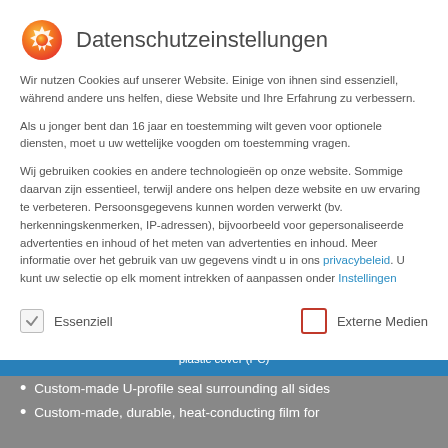Datenschutzeinstellungen
Wir nutzen Cookies auf unserer Website. Einige von ihnen sind essenziell, während andere uns helfen, diese Website und Ihre Erfahrung zu verbessern.
Als u jonger bent dan 16 jaar en toestemming wilt geven voor optionele diensten, moet u uw wettelijke voogden om toestemming vragen.
Wij gebruiken cookies en andere technologieën op onze website. Sommige daarvan zijn essentieel, terwijl andere ons helpen deze website en uw ervaring te verbeteren. Persoonsgegevens kunnen worden verwerkt (bv. herkenningskenmerken, IP-adressen), bijvoorbeeld voor gepersonaliseerde advertenties en inhoud of het meten van advertenties en inhoud. Meer informatie over het gebruik van uw gegevens vindt u in ons privacybeleid. U kunt uw selectie op elk moment intrekken of aanpassen onder Instellingen
Essenziell
Externe Medien
plastic cover (PC)
Custom-made U-profile seal surrounding all sides
Custom-made, durable, heat-conducting film for